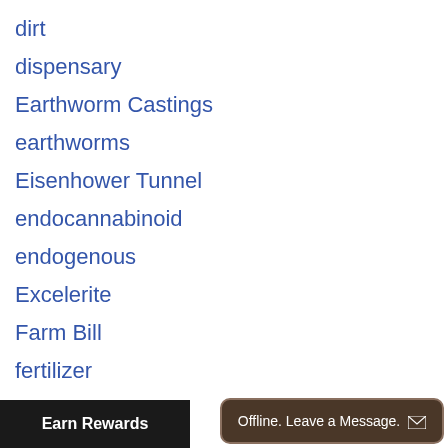dirt
dispensary
Earthworm Castings
earthworms
Eisenhower Tunnel
endocannabinoid
endogenous
Excelerite
Farm Bill
fertilizer
fibers
fiesta
Finalsan
food
Earn Rewards
Offline. Leave a Message.